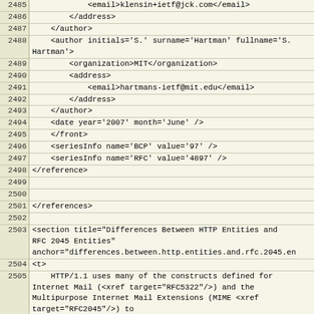| line | code |
| --- | --- |
| 2485 |             <email>klensin+ietf@jck.com</email> |
| 2486 |         </address> |
| 2487 |     </author> |
| 2488 |     <author initials='S.' surname='Hartman' fullname='S. Hartman'> |
| 2489 |         <organization>MIT</organization> |
| 2490 |         <address> |
| 2491 |             <email>hartmans-ietf@mit.edu</email> |
| 2492 |         </address> |
| 2493 |     </author> |
| 2494 |     <date year='2007' month='June' /> |
| 2495 |     </front> |
| 2496 |     <seriesInfo name='BCP' value='97' /> |
| 2497 |     <seriesInfo name='RFC' value='4897' /> |
| 2498 | </reference> |
| 2499 |  |
| 2500 |  |
| 2501 | </references> |
| 2502 |  |
| 2503 | <section title="Differences Between HTTP Entities and RFC 2045 Entities"
anchor="differences.between.http.entities.and.rfc.2045.en |
| 2504 | <t> |
| 2505 |     HTTP/1.1 uses many of the constructs defined for Internet Mail (<xref target="RFC5322"/>) and the Multipurpose Internet Mail Extensions (MIME <xref target="RFC2045"/>) to |
| 2506 |     allow entities to be transmitted in an open variety of |
| 2507 |     representations and with extensible mechanisms. However, RFC 2045 |
| 2508 |     discusses mail, and HTTP has a few features that are different from |